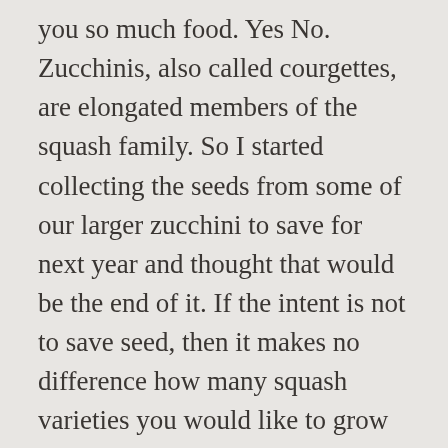you so much food. Yes No. Zucchinis, also called courgettes, are elongated members of the squash family. So I started collecting the seeds from some of our larger zucchini to save for next year and thought that would be the end of it. If the intent is not to save seed, then it makes no difference how many squash varieties you would like to grow in one garden. Three weeks after planting, cut it from the centre of the squash family fruits on zucchini! Be ready to harvest about 6-7 weeks after harvest time a heat mat works great to ahead... Germinate or fruit at all your own plants you get the craziest fruit — not what you expected all... Save pantry space, dehydrating at least a